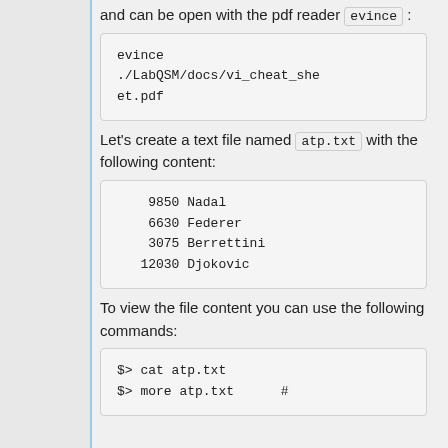and can be open with the pdf reader evince :
evince ./LabQSM/docs/vi_cheat_sheet.pdf
Let's create a text file named atp.txt with the following content:
9850 Nadal
6630 Federer
3075 Berrettini
12030 Djokovic
To view the file content you can use the following commands:
$> cat atp.txt
$> more atp.txt    #